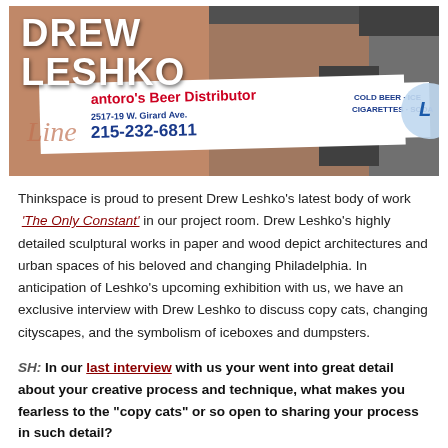[Figure (photo): Street-level photo of a beer distributor store front in Philadelphia with signs reading 'antoro's Beer Distributor', '2517-19 W. Girard Ave.', '215-232-6811', 'COLD BEER - ICE', 'CIGARETTES - SODA'. The text 'DREW LESHKO' is overlaid in large white bold letters on the left side of the image.]
Thinkspace is proud to present Drew Leshko's latest body of work 'The Only Constant' in our project room. Drew Leshko's highly detailed sculptural works in paper and wood depict architectures and urban spaces of his beloved and changing Philadelphia. In anticipation of Leshko's upcoming exhibition with us, we have an exclusive interview with Drew Leshko to discuss copy cats, changing cityscapes, and the symbolism of iceboxes and dumpsters.
SH: In our last interview with us your went into great detail about your creative process and technique, what makes you fearless to the "copy cats" or so open to sharing your process in such detail?